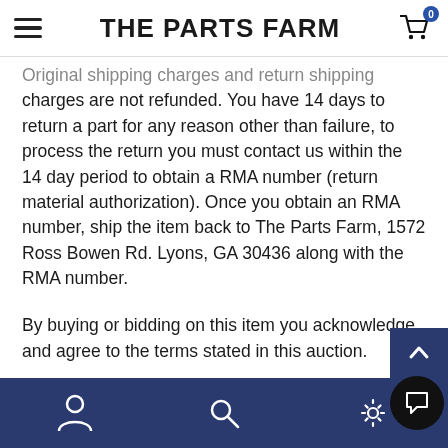THE PARTS FARM
Original shipping charges and return shipping charges are not refunded. You have 14 days to return a part for any reason other than failure, to process the return you must contact us within the 14 day period to obtain a RMA number (return material authorization). Once you obtain an RMA number, ship the item back to The Parts Farm, 1572 Ross Bowen Rd. Lyons, GA 30436 along with the RMA number.
By buying or bidding on this item you acknowledge and agree to the terms stated in this auction.
ADDITIONAL INSTRUCTIONS